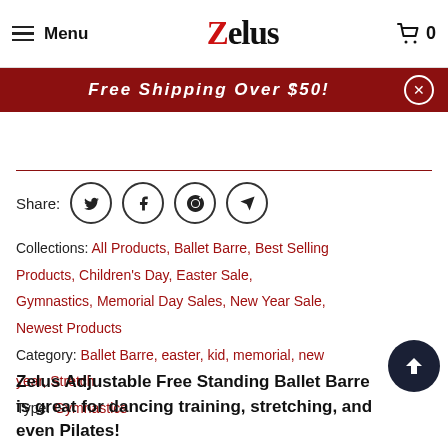Menu | Zelus | 0
Free Shipping Over $50!
Share:
Collections: All Products, Ballet Barre, Best Selling Products, Children's Day, Easter Sale, Gymnastics, Memorial Day Sales, New Year Sale, Newest Products
Category: Ballet Barre, easter, kid, memorial, new year, Stretch
Type: Gymnastics
Zelus Adjustable Free Standing Ballet Barre is great for dancing training, stretching, and even Pilates!